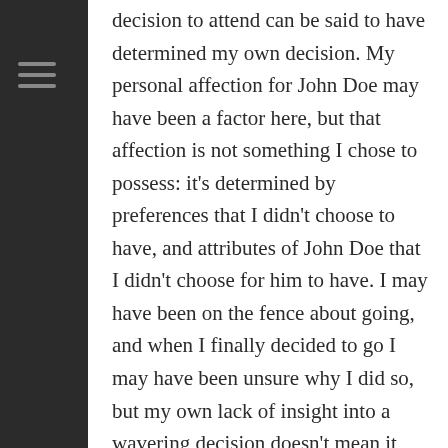decision to attend can be said to have determined my own decision. My personal affection for John Doe may have been a factor here, but that affection is not something I chose to possess: it's determined by preferences that I didn't choose to have, and attributes of John Doe that I didn't choose for him to have. I may have been on the fence about going, and when I finally decided to go I may have been unsure why I did so, but my own lack of insight into a wavering decision doesn't mean it was free. Surely there were reasons that swayed me without my knowing.
How can we reconcile the feeling of freedom, the sense that we are making our own choices, directing our own lives, deciding which parties we will attend, so to speak, with the awareness that our choices are